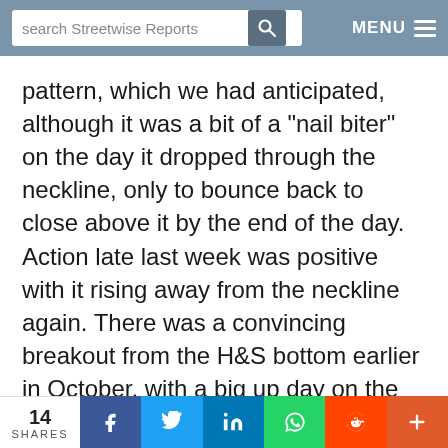search Streetwise Reports | MENU
pattern, which we had anticipated, although it was a bit of a "nail biter" on the day it dropped through the neckline, only to bounce back to close above it by the end of the day. Action late last week was positive with it rising away from the neckline again. There was a convincing breakout from the H&S bottom earlier in October, with a big up day on the highest upside volume since March 2017. With respect to the larger picture GDX has quite a bit of work to do to turn it really positive, which will involve it rising sufficiently to take the 50-day moving average up through
14 SHARES | f | t | in | WhatsApp | reddit | +